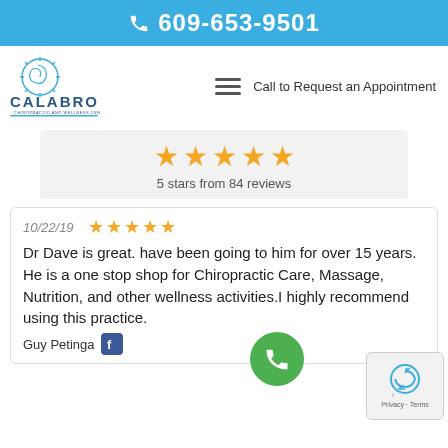609-653-9501
[Figure (logo): Calabro Chiropractic and Wellness Center logo with sun/spine icon]
Call to Request an Appointment
[Figure (infographic): 5 gold stars rating display showing 5 stars from 84 reviews]
5 stars from 84 reviews
10/22/19
[Figure (infographic): 5 gold stars review rating]
Dr Dave is great. have been going to him for over 15 years. He is a one stop shop for Chiropractic Care, Massage, Nutrition, and other wellness activities.I highly recommend using this practice.
Guy Petinga